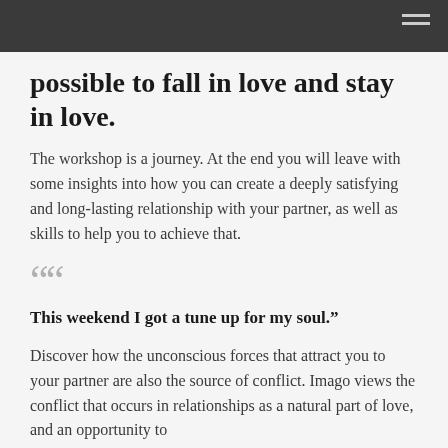possible to fall in love and stay in love.
The workshop is a journey. At the end you will leave with some insights into how you can create a deeply satisfying and long-lasting relationship with your partner, as well as skills to help you to achieve that.
““
This weekend I got a tune up for my soul.”
Discover how the unconscious forces that attract you to your partner are also the source of conflict. Imago views the conflict that occurs in relationships as a natural part of love, and an opportunity to